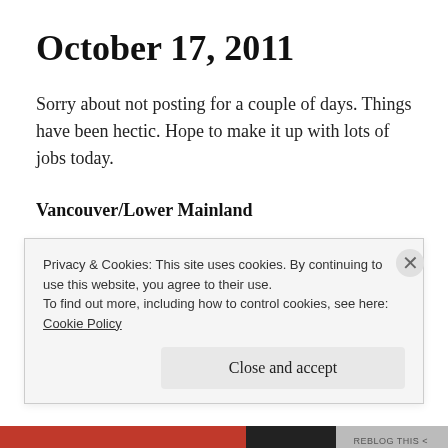October 17, 2011
Sorry about not posting for a couple of days. Things have been hectic. Hope to make it up with lots of jobs today.
Vancouver/Lower Mainland
Full-time/Part-time
Privacy & Cookies: This site uses cookies. By continuing to use this website, you agree to their use.
To find out more, including how to control cookies, see here:
Cookie Policy
Close and accept